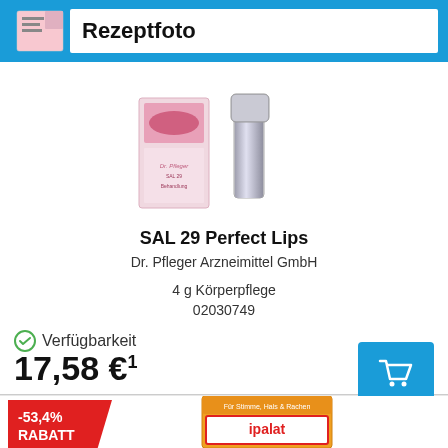[Figure (screenshot): Rezeptfoto blue header bar with prescription icon]
Rezeptfoto
[Figure (photo): SAL 29 Perfect Lips product photo showing lip balm box and silver lipstick tube]
SAL 29 Perfect Lips
Dr. Pfleger Arzneimittel GmbH
4 g Körperpflege
02030749
Verfügbarkeit
17,58 €¹
[Figure (photo): Ipalat Honigmild throat pastilles box visible at bottom of page]
-53,4% RABATT